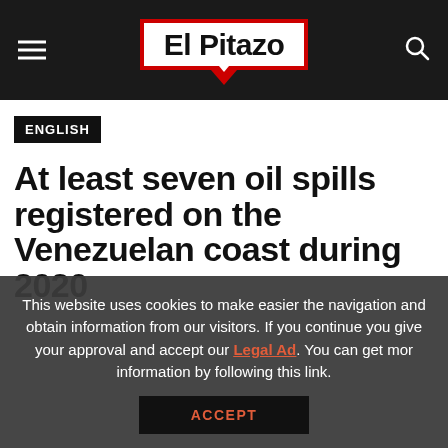El Pitazo
ENGLISH
At least seven oil spills registered on the Venezuelan coast during 2020
This website uses cookies to make easier the navigation and obtain information from our visitors. If you continue you give your approval and accept our Legal Ad. You can get mor information by following this link.
ACCEPT